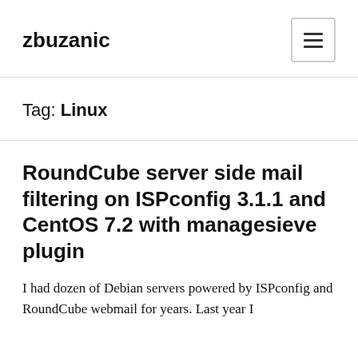zbuzanic
Tag: Linux
RoundCube server side mail filtering on ISPconfig 3.1.1 and CentOS 7.2 with managesieve plugin
I had dozen of Debian servers powered by ISPconfig and RoundCube webmail for years. Last year I